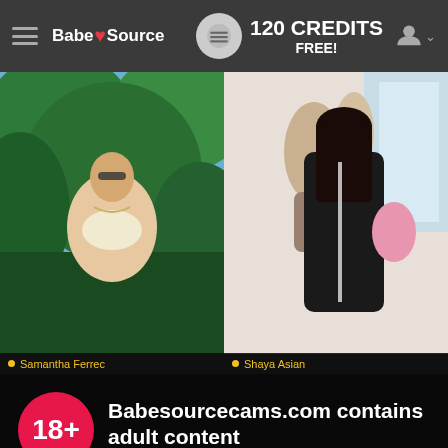BabeSource — 120 CREDITS FREE!
[Figure (photo): Photo of woman in bikini in tropical setting (Samantha Ferrec)]
[Figure (photo): Photo of woman in black outfit in interior setting (Shaya Asian)]
Samantha Ferrec
Shaya Asian
Babesourcecams.com contains adult content
By using the site, you acknowledge you have read our Privacy Policy, and agree to our Terms and Conditions.
We use cookies to optimize your experience, analyze traffic, and deliver more personalized service. To learn more, please see our Privacy Policy.
I AGREE